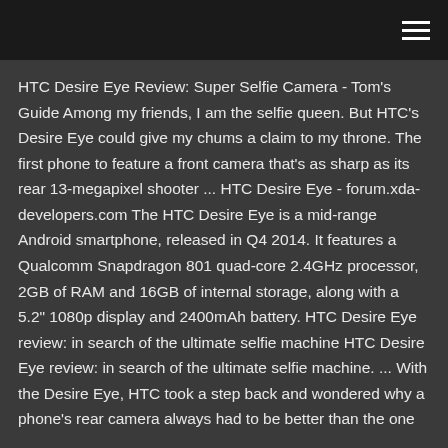HTC Desire Eye Review: Super Selfie Camera - Tom's Guide Among my friends, I am the selfie queen. But HTC's Desire Eye could give my chums a claim to my throne. The first phone to feature a front camera that's as sharp as its rear 13-megapixel shooter ... HTC Desire Eye - forum.xda-developers.com The HTC Desire Eye is a mid-range Android smartphone, released in Q4 2014. It features a Qualcomm Snapdragon 801 quad-core 2.4GHz processor, 2GB of RAM and 16GB of internal storage, along with a 5.2" 1080p display and 2400mAh battery. HTC Desire Eye review: in search of the ultimate selfie machine HTC Desire Eye review: in search of the ultimate selfie machine. ... With the Desire Eye, HTC took a step back and wondered why a phone's rear camera always had to be better than the one